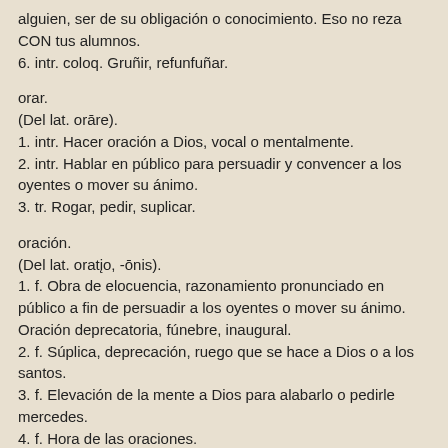alguien, ser de su obligación o conocimiento. Eso no reza CON tus alumnos.
6. intr. coloq. Gruñir, refunfuñar.
orar.
(Del lat. orāre).
1. intr. Hacer oración a Dios, vocal o mentalmente.
2. intr. Hablar en público para persuadir y convencer a los oyentes o mover su ánimo.
3. tr. Rogar, pedir, suplicar.
oración.
(Del lat. oratĭo, -ōnis).
1. f. Obra de elocuencia, razonamiento pronunciado en público a fin de persuadir a los oyentes o mover su ánimo. Oración deprecatoria, fúnebre, inaugural.
2. f. Súplica, deprecación, ruego que se hace a Dios o a los santos.
3. f. Elevación de la mente a Dios para alabarlo o pedirle mercedes.
4. f. Hora de las oraciones.
5. f. Gram. Palabra o conjunto de palabras con que se